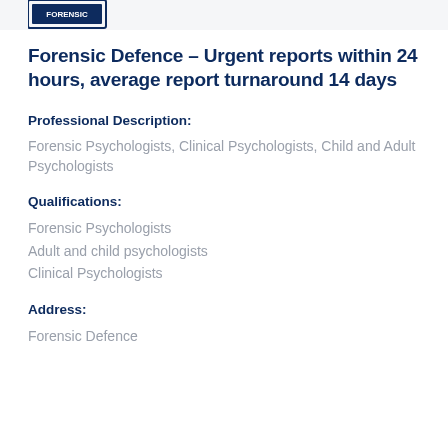[Figure (logo): Company logo, small rectangular logo in top left area]
Forensic Defence – Urgent reports within 24 hours, average report turnaround 14 days
Professional Description:
Forensic Psychologists, Clinical Psychologists, Child and Adult Psychologists
Qualifications:
Forensic Psychologists
Adult and child psychologists
Clinical Psychologists
Address:
Forensic Defence